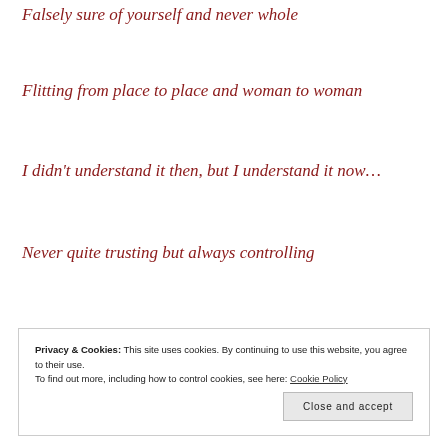Falsely sure of yourself and never whole
Flitting from place to place and woman to woman
I didn't understand it then, but I understand it now…
Never quite trusting but always controlling
Hoarding your feelings, a collector of sins
I didn't understand it then, but I understand it now…
Privacy & Cookies: This site uses cookies. By continuing to use this website, you agree to their use. To find out more, including how to control cookies, see here: Cookie Policy